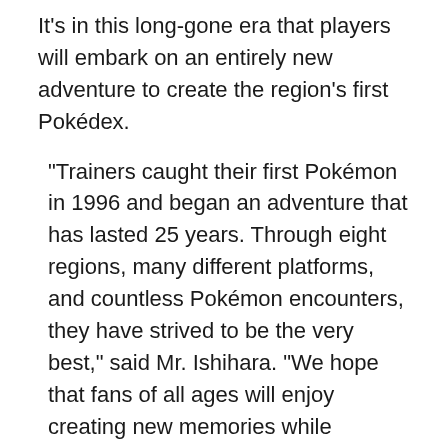It's in this long-gone era that players will embark on an entirely new adventure to create the region's first Pokédex.
“Trainers caught their first Pokémon in 1996 and began an adventure that has lasted 25 years. Through eight regions, many different platforms, and countless Pokémon encounters, they have strived to be the very best,” said Mr. Ishihara. “We hope that fans of all ages will enjoy creating new memories while exploring the Sinnoh region in these new games.”
More details about the highly anticipated New Pokémon Snap game were also shared in the video presentation, in addition to information about special in-game events taking place in celebration of Pokémon's 25th anniversary.
For more information about the Pokémon 25th anniversary celebration, please visit Pokemon.uk/25